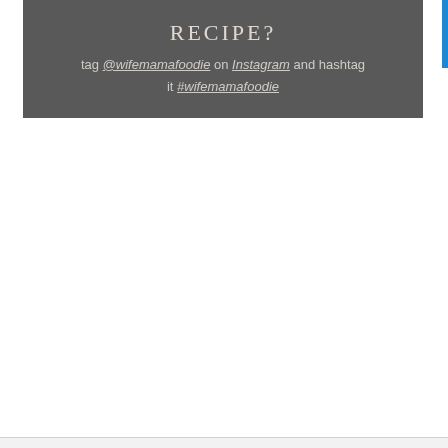RECIPE?
tag @wifemamafoodie on Instagram and hashtag it #wifemamafoodie